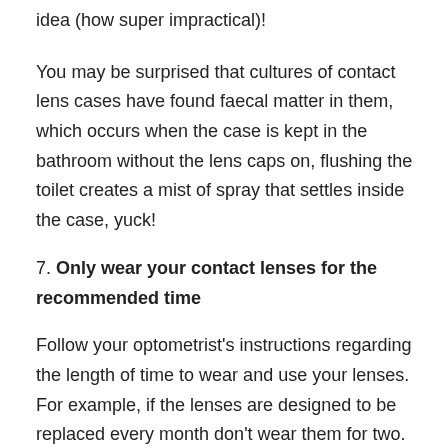idea (how super impractical)!
You may be surprised that cultures of contact lens cases have found faecal matter in them, which occurs when the case is kept in the bathroom without the lens caps on, flushing the toilet creates a mist of spray that settles inside the case, yuck!
7. Only wear your contact lenses for the recommended time
Follow your optometrist's instructions regarding the length of time to wear and use your lenses. For example, if the lenses are designed to be replaced every month don't wear them for two. Your risk of serious eye infections increases if you overwear your contacts.